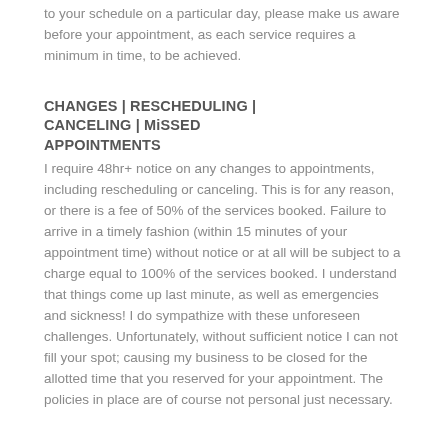to your schedule on a particular day, please make us aware before your appointment, as each service requires a minimum in time, to be achieved.
CHANGES | RESCHEDULING | CANCELING | MiSSED APPOINTMENTS
I require 48hr+ notice on any changes to appointments, including rescheduling or canceling. This is for any reason, or there is a fee of 50% of the services booked. Failure to arrive in a timely fashion (within 15 minutes of your appointment time) without notice or at all will be subject to a charge equal to 100% of the services booked. I understand that things come up last minute, as well as emergencies and sickness! I do sympathize with these unforeseen challenges. Unfortunately, without sufficient notice I can not fill your spot; causing my business to be closed for the allotted time that you reserved for your appointment. The policies in place are of course not personal just necessary.